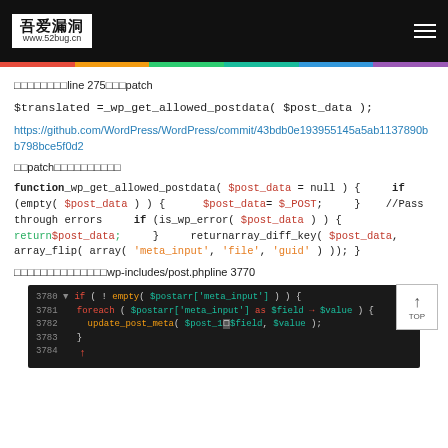[Figure (screenshot): Website header with logo '吾爱漏洞 www.52bug.cn' on black background with hamburger menu]
□□□□□□□□line 275□□□patch
$translated =_wp_get_allowed_postdata( $post_data );
https://github.com/WordPress/WordPress/commit/43bdb0e193955145a5ab1137890bb798bce5f0d2
□□patch□□□□□□□□□□
function_wp_get_allowed_postdata( $post_data = null ) {     if (empty( $post_data ) ) {       $post_data= $_POST;     }    //Pass through errors     if (is_wp_error( $post_data ) ) {  return$post_data;     }    returnarray_diff_key( $post_data, array_flip( array( 'meta_input', 'file', 'guid' ) )); }
□□□□□□□□□□□□□□wp-includes/post.phpline 3770
[Figure (screenshot): Code editor screenshot showing lines 3780-3784 with PHP code for meta_input handling, with red arrow pointing to line 3782]